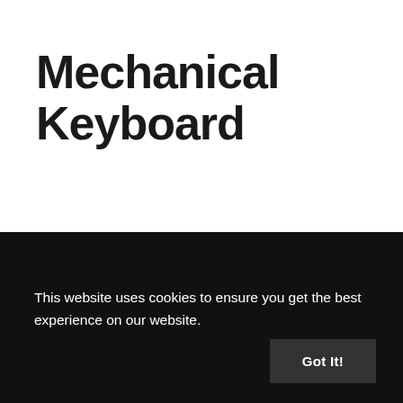Mechanical Keyboard
Keyboard
[Figure (photo): Top-down photo of a gray surface with a teal/cyan coiled cable on the left and an orange and black keycap puller tool on the right.]
This website uses cookies to ensure you get the best experience on our website.
Got It!